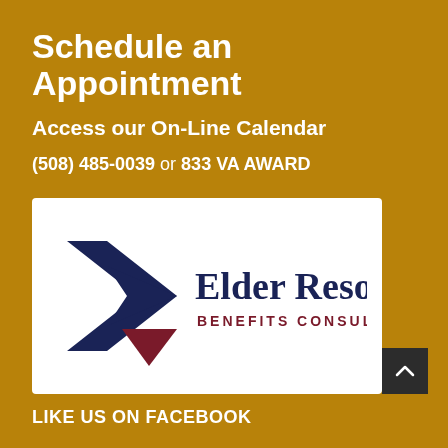Schedule an Appointment
Access our On-Line Calendar
(508) 485-0039 or 833 VA AWARD
[Figure (logo): Elder Resource Benefits Consulting logo — navy blue star shape on left, dark red triangle accent, text 'Elder Resource' in navy serif font and 'BENEFITS CONSULTING' in dark red caps on white background]
LIKE US ON FACEBOOK